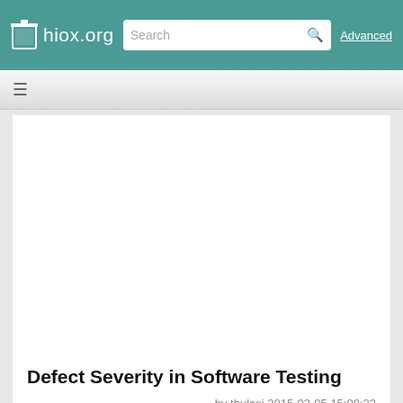hiox.org  Search  Advanced
Defect Severity in Software Testing
by thulasi 2015-03-05 15:08:23